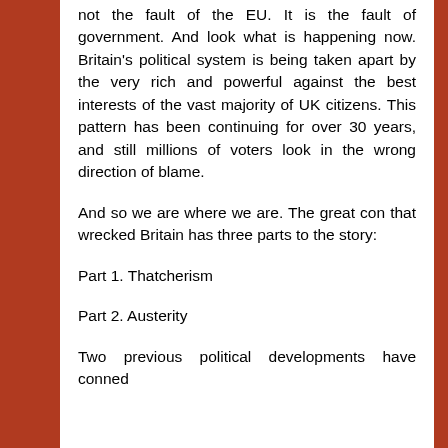not the fault of the EU. It is the fault of government. And look what is happening now. Britain's political system is being taken apart by the very rich and powerful against the best interests of the vast majority of UK citizens. This pattern has been continuing for over 30 years, and still millions of voters look in the wrong direction of blame.
And so we are where we are. The great con that wrecked Britain has three parts to the story:
Part 1. Thatcherism
Part 2. Austerity
Two previous political developments have conned